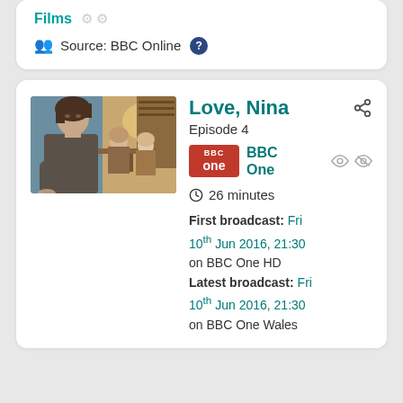Films
Source: BBC Online
[Figure (photo): Scene from 'Love, Nina' showing a woman in a grey sweater looking away from a table scene indoors]
Love, Nina
Episode 4
[Figure (logo): BBC One logo - red rectangle with BBC and 'one' text in white]
BBC One
26 minutes
First broadcast: Fri 10th Jun 2016, 21:30 on BBC One HD
Latest broadcast: Fri 10th Jun 2016, 21:30 on BBC One Wales